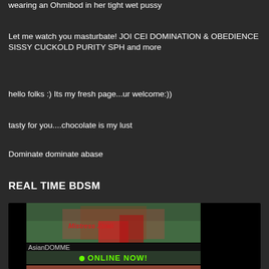wearing an Ohmibod in her tight wet pussy
Let me watch you masturbate! JOI CEI DOMINATION & OBEDIENCE SISSY CUCKOLD PURITY SPH and more
hello folks :) Its my fresh page...ur welcome:))
tasty for you....chocolate is my lust
Dominate dominate abase
REAL TIME BDSM
[Figure (screenshot): Online performer card showing AsianDOMME with ONLINE NOW! status indicator and thumbnail images]